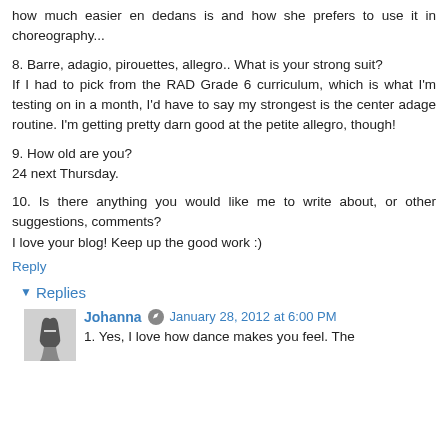how much easier en dedans is and how she prefers to use it in choreography...
8. Barre, adagio, pirouettes, allegro.. What is your strong suit?
If I had to pick from the RAD Grade 6 curriculum, which is what I'm testing on in a month, I'd have to say my strongest is the center adage routine. I'm getting pretty darn good at the petite allegro, though!
9. How old are you?
24 next Thursday.
10. Is there anything you would like me to write about, or other suggestions, comments?
I love your blog! Keep up the good work :)
Reply
Replies
Johanna  January 28, 2012 at 6:00 PM
1. Yes, I love how dance makes you feel. The